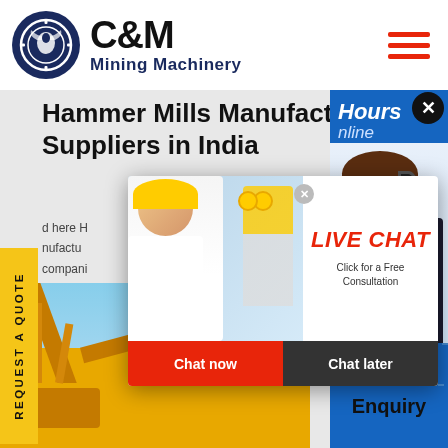C&M Mining Machinery
Hammer Mills Manufacturers & Suppliers in India
here H... nufactu... compani... s across...
[Figure (screenshot): Live chat popup with workers image, LIVE CHAT heading in red italic, 'Click for a Free Consultation' text, Chat now (red) and Chat later (dark) buttons]
[Figure (photo): Right panel showing Hours Online in blue header with customer support agent photo below, Click to Chat button, and Enquiry text]
[Figure (photo): Bottom portion showing yellow mining machinery (hammer mill) against blue sky background]
REQUEST A QUOTE